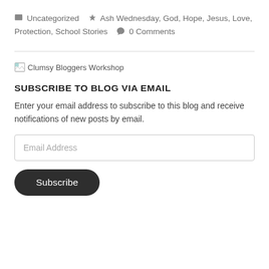Uncategorized  Ash Wednesday, God, Hope, Jesus, Love, Protection, School Stories  0 Comments
[Figure (screenshot): Broken image placeholder for Clumsy Bloggers Workshop]
SUBSCRIBE TO BLOG VIA EMAIL
Enter your email address to subscribe to this blog and receive notifications of new posts by email.
Email Address (input field)
Subscribe (button)